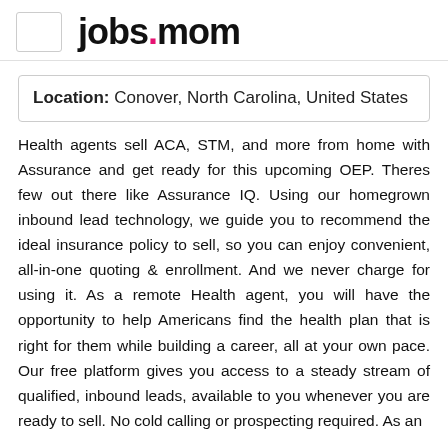jobs.mom
Location: Conover, North Carolina, United States
Health agents sell ACA, STM, and more from home with Assurance and get ready for this upcoming OEP. Theres few out there like Assurance IQ. Using our homegrown inbound lead technology, we guide you to recommend the ideal insurance policy to sell, so you can enjoy convenient, all-in-one quoting & enrollment. And we never charge for using it. As a remote Health agent, you will have the opportunity to help Americans find the health plan that is right for them while building a career, all at your own pace. Our free platform gives you access to a steady stream of qualified, inbound leads, available to you whenever you are ready to sell. No cold calling or prospecting required. As an